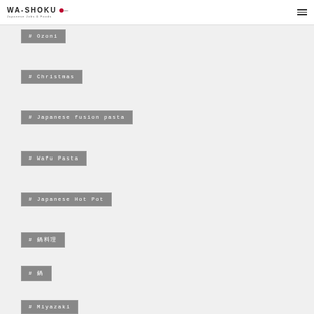WA-SHOKU Japanese Jobs & Foods
# Ozoni
# Christmas
# Japanese fusion pasta
# Wafu Pasta
# Japanese Hot Pot
# 鍋料理
# 鍋
# Miyazaki